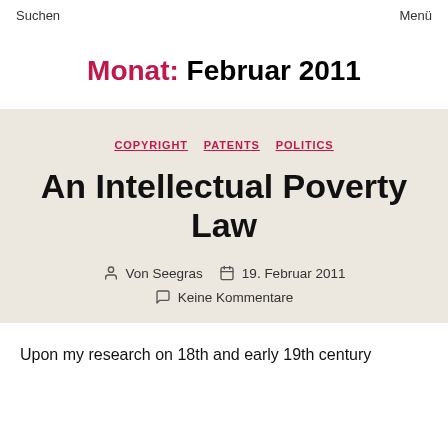Suchen   Menü
Monat: Februar 2011
COPYRIGHT   PATENTS   POLITICS
An Intellectual Poverty Law
Von Seegras   19. Februar 2011   Keine Kommentare
Upon my research on 18th and early 19th century